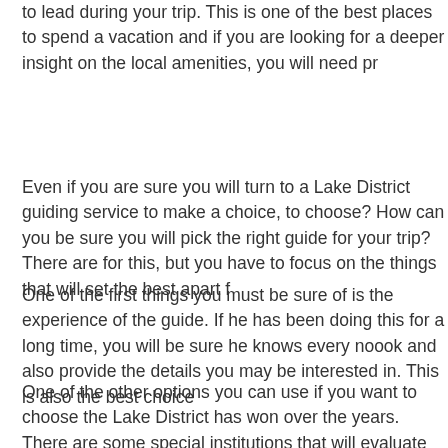to lead during your trip. This is one of the best places to spend a vacation and if you are looking for a deeper insight on the local amenities, you will need p...
Even if you are sure you will turn to a Lake District guiding service to make a choice, to choose? How can you be sure you will pick the right guide for your trip? There are for this, but you have to focus on the things that will set the best apart f...
One of the first things you must be sure of is the experience of the guide. If he has been doing this for a long time, you will be sure he knows every no... also provide the details you may be interested in. This is also the best c...
One of the other options you can use if you want to choose the Lake Di... has won over the years. There are some special institutions that will ev... will also offer awards to show off the quality they provide. This will mak...